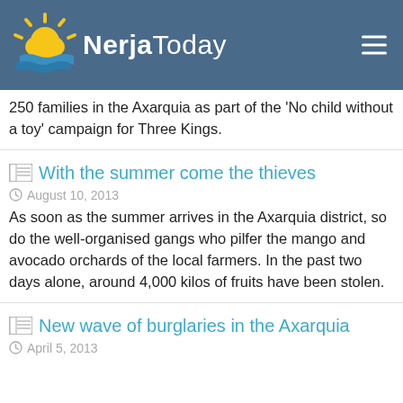NerjaToday
250 families in the Axarquia as part of the 'No child without a toy' campaign for Three Kings.
With the summer come the thieves
August 10, 2013
As soon as the summer arrives in the Axarquia district, so do the well-organised gangs who pilfer the mango and avocado orchards of the local farmers. In the past two days alone, around 4,000 kilos of fruits have been stolen.
New wave of burglaries in the Axarquia
April 5, 2013